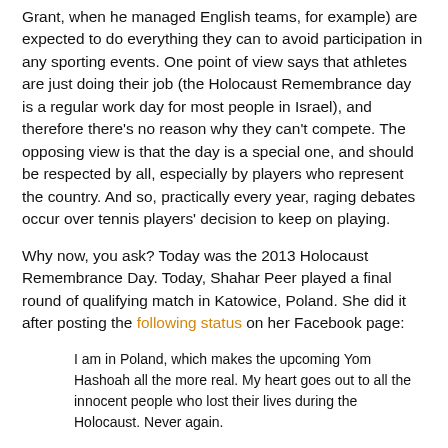Grant, when he managed English teams, for example) are expected to do everything they can to avoid participation in any sporting events. One point of view says that athletes are just doing their job (the Holocaust Remembrance day is a regular work day for most people in Israel), and therefore there's no reason why they can't compete. The opposing view is that the day is a special one, and should be respected by all, especially by players who represent the country. And so, practically every year, raging debates occur over tennis players' decision to keep on playing.
Why now, you ask? Today was the 2013 Holocaust Remembrance Day. Today, Shahar Peer played a final round of qualifying match in Katowice, Poland. She did it after posting the following status on her Facebook page:
I am in Poland, which makes the upcoming Yom Hashoah all the more real. My heart goes out to all the innocent people who lost their lives during the Holocaust. Never again.
Peer also played with a black ribbon with the words "Never again" on it. She ended up losing 6-4 6-1 to Slough Anne...